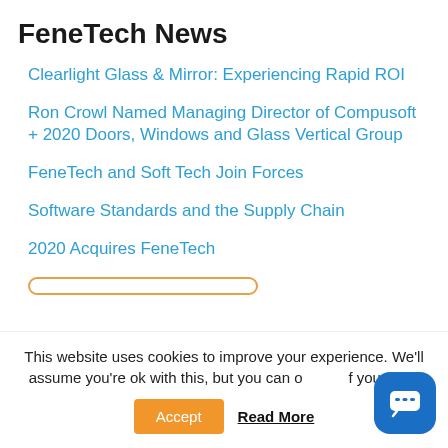FeneTech News
Clearlight Glass & Mirror: Experiencing Rapid ROI
Ron Crowl Named Managing Director of Compusoft + 2020 Doors, Windows and Glass Vertical Group
FeneTech and Soft Tech Join Forces
Software Standards and the Supply Chain
2020 Acquires FeneTech
This website uses cookies to improve your experience. We'll assume you're ok with this, but you can opt-out if you wish.
Accept   Read More